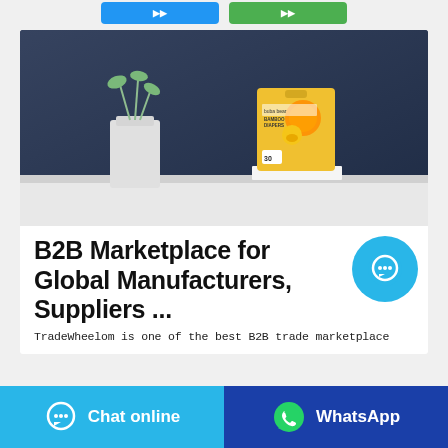[Figure (screenshot): Top portion showing two partially visible buttons (blue and green) at the top of the page]
[Figure (photo): Product photo of a yellow buba bear brand baby diaper box on a white surface with a white vase and plant in the background against a dark blue wall]
B2B Marketplace for Global Manufacturers, Suppliers ...
TradeWheelom is one of the best B2B trade marketplace
Chat online
WhatsApp